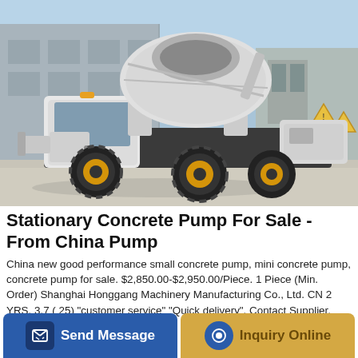[Figure (photo): White self-loading concrete mixer truck parked on pavement in front of industrial buildings, with yellow-rimmed tires and large rotating drum]
Stationary Concrete Pump For Sale - From China Pump
China new good performance small concrete pump, mini concrete pump, concrete pump for sale. $2,850.00-$2,950.00/Piece. 1 Piece (Min. Order) Shanghai Honggang Machinery Manufacturing Co., Ltd. CN 2 YRS. 3.7 ( 25) "customer service" "Quick delivery". Contact Supplier. Compare.
Send Message
Inquiry Online